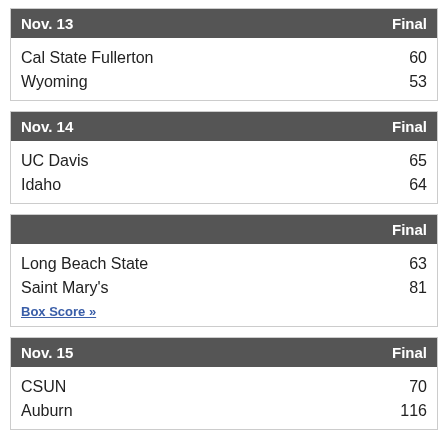| Nov. 13 | Final |
| --- | --- |
| Cal State Fullerton | 60 |
| Wyoming | 53 |
| Nov. 14 | Final |
| --- | --- |
| UC Davis | 65 |
| Idaho | 64 |
|  | Final |
| --- | --- |
| Long Beach State | 63 |
| Saint Mary's | 81 |
Box Score »
| Nov. 15 | Final |
| --- | --- |
| CSUN | 70 |
| Auburn | 116 |